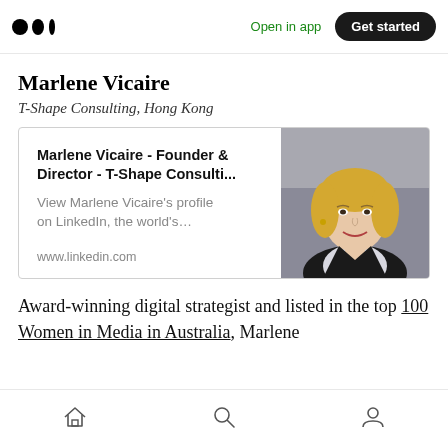Medium — Open in app | Get started
Marlene Vicaire
T-Shape Consulting, Hong Kong
[Figure (screenshot): LinkedIn profile card for Marlene Vicaire - Founder & Director - T-Shape Consulti... with photo of a blonde woman smiling. Text: 'View Marlene Vicaire's profile on LinkedIn, the world's...' and URL www.linkedin.com]
Award-winning digital strategist and listed in the top 100 Women in Media in Australia, Marlene
Bottom navigation bar with home, search, and profile icons